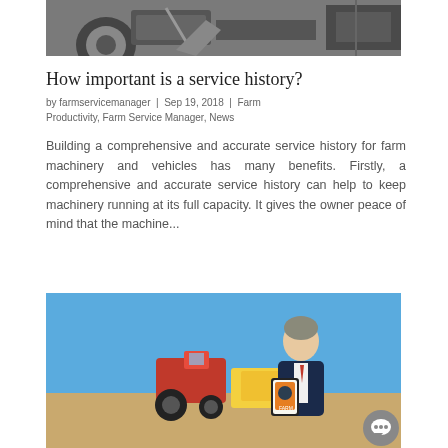[Figure (photo): Black and white photo of farm machinery undercarriage with a person's hand holding a tool]
How important is a service history?
by farmservicemanager | Sep 19, 2018 | Farm Productivity, Farm Service Manager, News
Building a comprehensive and accurate service history for farm machinery and vehicles has many benefits. Firstly, a comprehensive and accurate service history can help to keep machinery running at its full capacity. It gives the owner peace of mind that the machine...
[Figure (photo): Color photo of a man in a suit holding a smartphone with the Farm Service Manager app, standing in front of a red tractor and yellow farm equipment on a flat landscape under blue sky, with a chat bubble icon overlay]